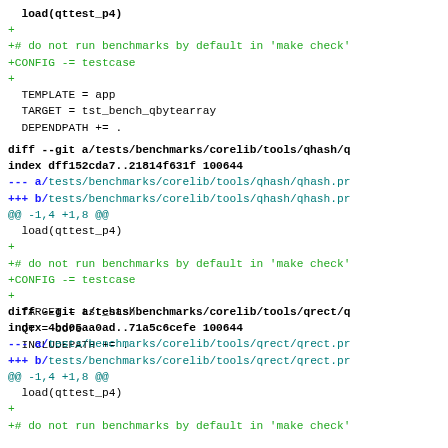load(qttest_p4)
+
+# do not run benchmarks by default in 'make check'
+CONFIG -= testcase
+
  TEMPLATE = app
  TARGET = tst_bench_qbytearray
  DEPENDPATH += .
diff --git a/tests/benchmarks/corelib/tools/qhash/q
index dff152cda7..21814f631f 100644
--- a/tests/benchmarks/corelib/tools/qhash/qhash.pr
+++ b/tests/benchmarks/corelib/tools/qhash/qhash.pr
@@ -1,4 +1,8 @@
  load(qttest_p4)
+
+# do not run benchmarks by default in 'make check'
+CONFIG -= testcase
+
  TARGET = tst_hash
  QT = core
  INCLUDEPATH += .
diff --git a/tests/benchmarks/corelib/tools/qrect/q
index 4bd05aa0ad..71a5c6cefe 100644
--- a/tests/benchmarks/corelib/tools/qrect/qrect.pr
+++ b/tests/benchmarks/corelib/tools/qrect/qrect.pr
@@ -1,4 +1,8 @@
  load(qttest_p4)
+
+# do not run benchmarks by default in 'make check'